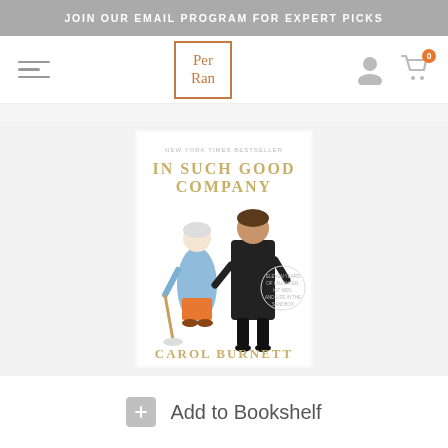JOIN OUR EMAIL PROGRAM FOR EXPERT PICKS
[Figure (screenshot): Per Ran bookstore logo in orange border square]
[Figure (photo): Book cover: In Such Good Company by Carol Burnett. Shows New York Times Bestseller label at top, gold lettering title 'IN SUCH GOOD COMPANY', illustration of a cartoon old woman with a mop next to a photo of Carol Burnett in a black dress, author name 'CAROL BURNETT' at bottom in gold letters.]
Add to Bookshelf